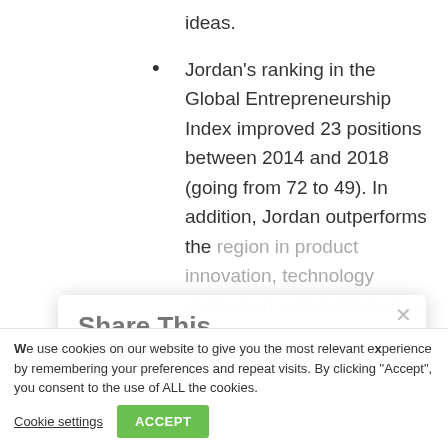ideas.
Jordan's ranking in the Global Entrepreneurship Index improved 23 positions between 2014 and 2018 (going from 72 to 49). In addition, Jordan outperforms the region in product innovation, technology absorption, competitiveness, startup skills, and cultural support
Share This
Share this post with your friends!
Facebook
Twitter
Gmail
LinkedIn
We use cookies on our website to give you the most relevant experience by remembering your preferences and repeat visits. By clicking "Accept", you consent to the use of ALL the cookies.
Cookie settings  ACCEPT